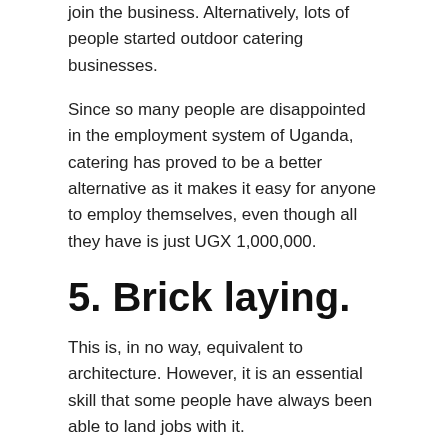join the business. Alternatively, lots of people started outdoor catering businesses.
Since so many people are disappointed in the employment system of Uganda, catering has proved to be a better alternative as it makes it easy for anyone to employ themselves, even though all they have is just UGX 1,000,000.
5. Brick laying.
This is, in no way, equivalent to architecture. However, it is an essential skill that some people have always been able to land jobs with it.
Also, a handful of people have been able to use this skill as a foundation to start their own construction companies.